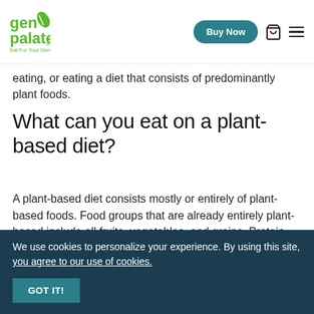GenoPalate – Eat For Your Genes | Buy Now
eating, or eating a diet that consists of predominantly plant foods.
What can you eat on a plant-based diet?
A plant-based diet consists mostly or entirely of plant-based foods. Food groups that are already entirely plant-based include all fruits, vegetables, and grains. Protein and dairy food groups have plenty of plant-based options. For protein, a plant-based diet consists
We use cookies to personalize your experience. By using this site, you agree to our use of cookies.
GOT IT!